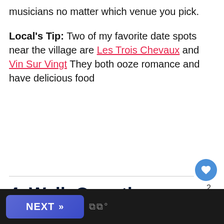musicians no matter which venue you pick.
Local's Tip: Two of my favorite date spots near the village are Les Trois Chevaux and Vin Sur Vingt They both ooze romance and have delicious food
4. Walk Over the Brooklyn Bridge
[Figure (other): Heart/like button (blue circle with heart icon), count of 2, share button]
[Figure (other): What's Next panel: 40 Free Things to Do in NY...]
[Figure (other): Bottom navigation bar with NEXT button and logo]